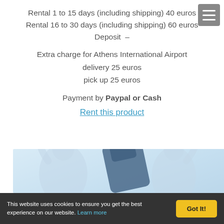Rental 1 to 15 days (including shipping) 40 euros
Rental 16 to 30 days (including shipping) 60 euros
Deposit  –
Extra charge for Athens International Airport
delivery 25 euros
pick up 25 euros
Payment by Paypal or Cash
Rent this product
[Figure (photo): Photo of two human silhouette figures with a dark blue bag or backpack between them, against a light blue background.]
This website uses cookies to ensure you get the best experience on our website. Learn more